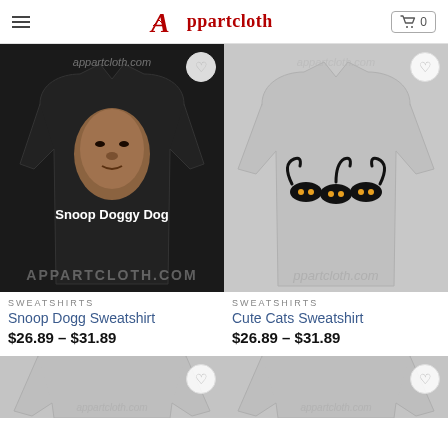Appartcloth
[Figure (photo): Black sweatshirt with Snoop Dogg face print and 'Snoop Doggy Dog' text, apparelcloth.com watermark]
SWEATSHIRTS
Snoop Dogg Sweatshirt
$26.89 – $31.89
[Figure (photo): Gray sweatshirt with cute black cats with glowing eyes illustration, appartcloth.com watermark]
SWEATSHIRTS
Cute Cats Sweatshirt
$26.89 – $31.89
[Figure (photo): Partial view of a gray sweatshirt at bottom left, appartcloth.com watermark]
[Figure (photo): Partial view of a gray sweatshirt at bottom right, appartcloth.com watermark]